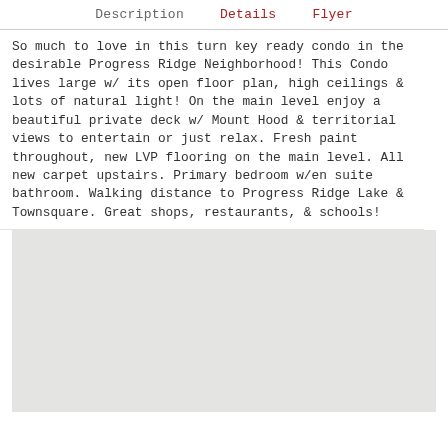Description   Details   Flyer
So much to love in this turn key ready condo in the desirable Progress Ridge Neighborhood! This Condo lives large w/ its open floor plan, high ceilings & lots of natural light! On the main level enjoy a beautiful private deck w/ Mount Hood & territorial views to entertain or just relax. Fresh paint throughout, new LVP flooring on the main level. All new carpet upstairs. Primary bedroom w/en suite bathroom. Walking distance to Progress Ridge Lake & Townsquare. Great shops, restaurants, & schools!
[Figure (map): Map area showing location of the property near Progress Ridge, Beaverton/Portland area. Displayed as a light gray placeholder map.]